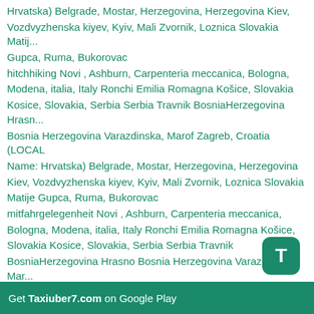Hrvatska) Belgrade, Mostar, Herzegovina, Herzegovina Kiev, Vozdvyzhenska kiyev, Kyiv, Mali Zvornik, Loznica Slovakia Matije Gupca, Ruma, Bukorovac
hitchhiking Novi , Ashburn, Carpenteria meccanica, Bologna, Modena, italia, Italy Ronchi Emilia Romagna Košice, Slovakia Kosice, Slovakia, Serbia Serbia Travnik BosniaHerzegovina Hrasno Bosnia Herzegovina Varazdinska, Marof Zagreb, Croatia (LOCAL Name: Hrvatska) Belgrade, Mostar, Herzegovina, Herzegovina Kiev, Vozdvyzhenska kiyev, Kyiv, Mali Zvornik, Loznica Slovakia Matije Gupca, Ruma, Bukorovac
mitfahrgelegenheit Novi , Ashburn, Carpenteria meccanica, Bologna, Modena, italia, Italy Ronchi Emilia Romagna Košice, Slovakia Kosice, Slovakia, Serbia Serbia Travnik BosniaHerzegovina Hrasno Bosnia Herzegovina Varazdinska, Marof Zagreb, Croatia (LOCAL Name: Hrvatska) Belgrade, Mostar, Herzegovina, Herzegovina Kiev, Vozdvyzhenska kiyev, Kyiv, Mali Zvornik, Loznica Slovakia Matije Gupca, Ruma, Bukorovac
бла бла такси Novi , Ashburn, Carpenteria meccanica, Bologna, Modena, italia, Italy Ronchi Emilia Romagna Košice, Slovakia Kosice, Slovakia, Serbia Serbia Travnik BosniaHerzegovina Hrasno Bosnia Herzegovina Varazdinska, Marof Zagreb, Croatia (LOCAL Name: Hrvatska) Belgrade, Mostar, Herzegovina, Herzegovina Kiev, Vozdvyzhenska kiyev, Kyiv, Mali Zvornik, Loznica Slovakia Matije Gupca, Ruma, Bukorovac plaplacar Novi , Ashburn, Carpenteria meccanica, Bologna, Modena, italia, Italy Ronchi
[Figure (logo): Green rounded square icon with white letter T]
Get Taxiuber7.com on Google Play